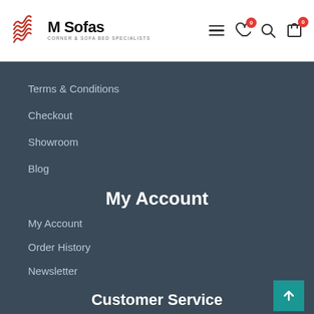[Figure (logo): M Sofas logo with red wave icon and text 'M Sofas - Corner & Sofa Bed Specialists']
Header navigation bar with hamburger menu, wishlist (0), search, and cart (0) icons
Terms & Conditions
Checkout
Showroom
Blog
My Account
My Account
Order History
Newsletter
Customer Service
Contact
Returns